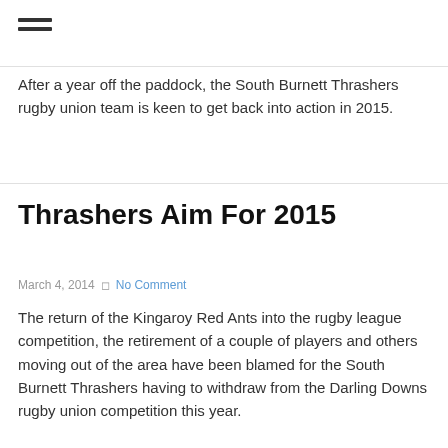≡
After a year off the paddock, the South Burnett Thrashers rugby union team is keen to get back into action in 2015.
Thrashers Aim For 2015
March 4, 2014   No Comment
The return of the Kingaroy Red Ants into the rugby league competition, the retirement of a couple of players and others moving out of the area have been blamed for the South Burnett Thrashers having to withdraw from the Darling Downs rugby union competition this year.